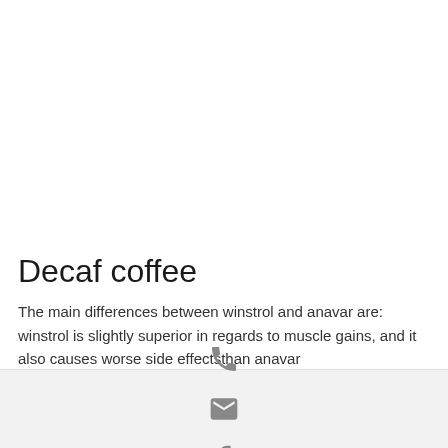Decaf coffee
The main differences between winstrol and anavar are: winstrol is slightly superior in regards to muscle gains, and it also causes worse side effectsthan anavar
[Figure (infographic): Footer bar with three icons: phone, email (envelope), and Facebook logo]